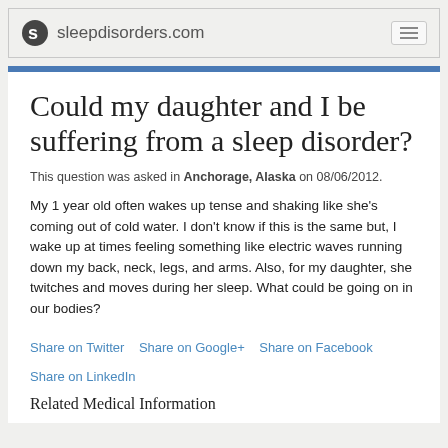sleepdisorders.com
Could my daughter and I be suffering from a sleep disorder?
This question was asked in Anchorage, Alaska on 08/06/2012.
My 1 year old often wakes up tense and shaking like she's coming out of cold water. I don't know if this is the same but, I wake up at times feeling something like electric waves running down my back, neck, legs, and arms. Also, for my daughter, she twitches and moves during her sleep. What could be going on in our bodies?
Share on Twitter   Share on Google+   Share on Facebook   Share on LinkedIn
Related Medical Information